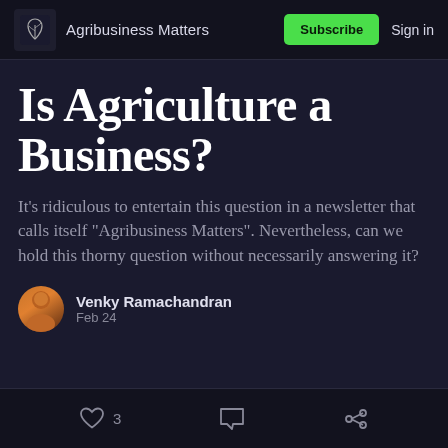Agribusiness Matters | Subscribe | Sign in
Is Agriculture a Business?
It's ridiculous to entertain this question in a newsletter that calls itself "Agribusiness Matters". Nevertheless, can we hold this thorny question without necessarily answering it?
Venky Ramachandran
Feb 24
3 likes | comment | share